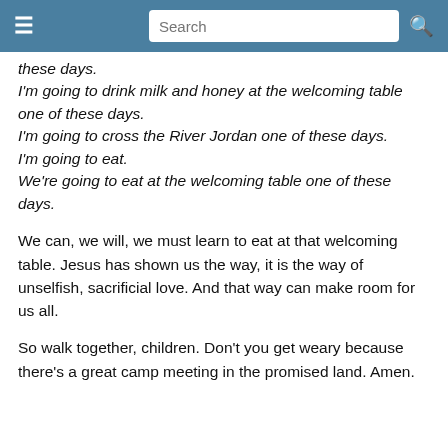Search
these days.
I'm going to drink milk and honey at the welcoming table one of these days.
I'm going to cross the River Jordan one of these days.
I'm going to eat.
We're going to eat at the welcoming table one of these days.
We can, we will, we must learn to eat at that welcoming table. Jesus has shown us the way, it is the way of unselfish, sacrificial love. And that way can make room for us all.
So walk together, children. Don't you get weary because there's a great camp meeting in the promised land. Amen.